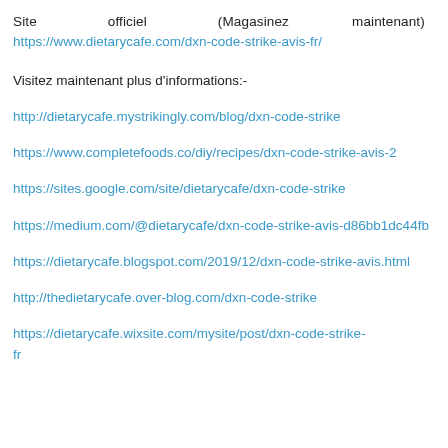Site officiel (Magasinez maintenant) :- https://www.dietarycafe.com/dxn-code-strike-avis-fr/
Visitez maintenant plus d'informations:-
http://dietarycafe.mystrikingly.com/blog/dxn-code-strike
https://www.completefoods.co/diy/recipes/dxn-code-strike-avis-2
https://sites.google.com/site/dietarycafe/dxn-code-strike
https://medium.com/@dietarycafe/dxn-code-strike-avis-d86bb1dc44fb
https://dietarycafe.blogspot.com/2019/12/dxn-code-strike-avis.html
http://thedietarycafe.over-blog.com/dxn-code-strike
https://dietarycafe.wixsite.com/mysite/post/dxn-code-strike-fr